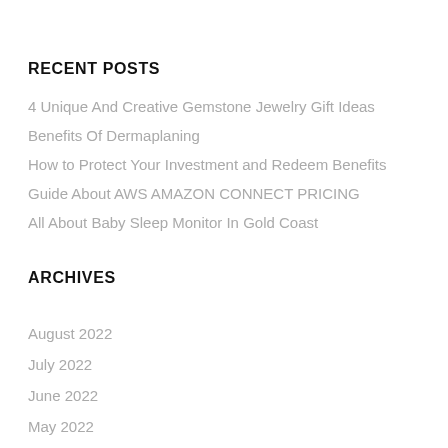RECENT POSTS
4 Unique And Creative Gemstone Jewelry Gift Ideas
Benefits Of Dermaplaning
How to Protect Your Investment and Redeem Benefits
Guide About AWS AMAZON CONNECT PRICING
All About Baby Sleep Monitor In Gold Coast
ARCHIVES
August 2022
July 2022
June 2022
May 2022
April 2022